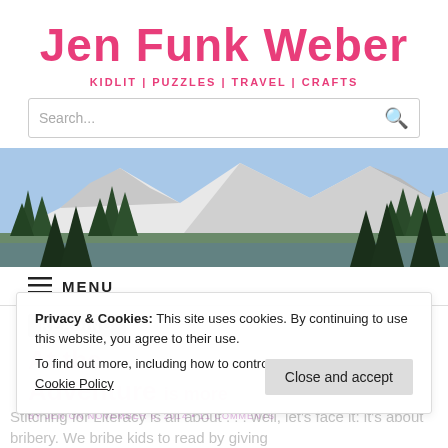Jen Funk Weber
KIDLIT | PUZZLES | TRAVEL | CRAFTS
[Figure (screenshot): Search bar with placeholder text 'Search...' and a search icon on the right]
[Figure (photo): Landscape banner photo showing snow-capped mountains and evergreen trees under a blue sky]
MENU
READING
Privacy & Cookies: This site uses cookies. By continuing to use this website, you agree to their use.
To find out more, including how to control cookies, see here: Cookie Policy
Close and accept
Stitching for Literacy is all about . . . well, let's face it: it's about bribery. We bribe kids to read by giving